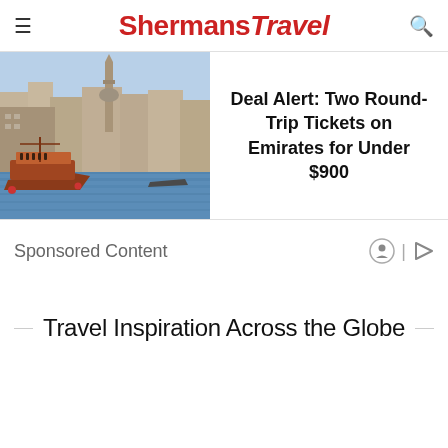ShermansTravel
[Figure (photo): Photo of a waterfront city scene with traditional wooden boats and a mosque minaret, likely Dubai or Istanbul]
Deal Alert: Two Round-Trip Tickets on Emirates for Under $900
Sponsored Content
Travel Inspiration Across the Globe